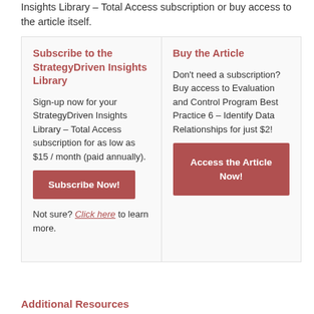Insights Library – Total Access subscription or buy access to the article itself.
Subscribe to the StrategyDriven Insights Library
Sign-up now for your StrategyDriven Insights Library – Total Access subscription for as low as $15 / month (paid annually).
Subscribe Now!
Not sure? Click here to learn more.
Buy the Article
Don't need a subscription? Buy access to Evaluation and Control Program Best Practice 6 – Identify Data Relationships for just $2!
Access the Article Now!
Additional Resources